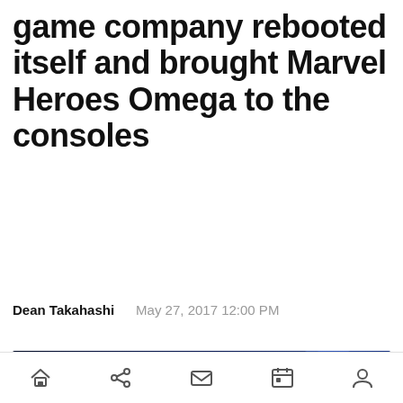game company rebooted itself and brought Marvel Heroes Omega to the consoles
Dean Takahashi    May 27, 2017 12:00 PM
[Figure (photo): Panel discussion scene with two men seated on stage chairs against a blue-lit background; one man in a light blue shirt gesturing, another in a black shirt with glasses seated to the right.]
Home  Share  Mail  Calendar  Profile